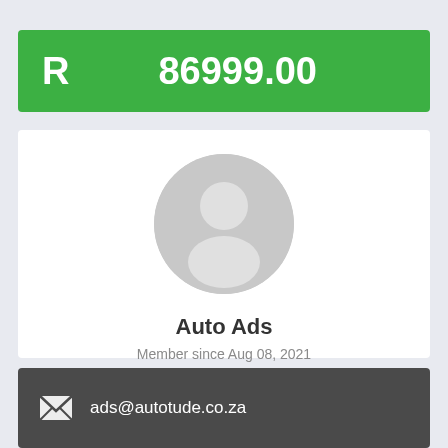R 86999.00
[Figure (photo): Default user avatar placeholder — grey circle with silhouette of a person]
Auto Ads
Member since Aug 08, 2021
view all ads
ads@autotude.co.za